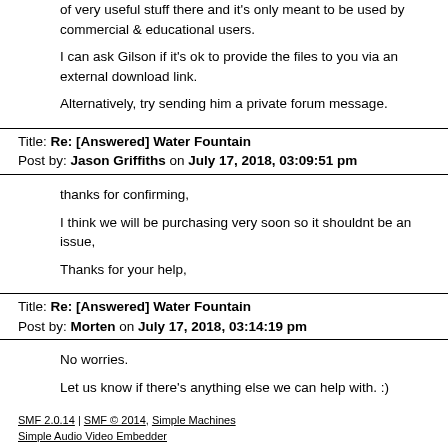of very useful stuff there and it's only meant to be used by commercial & educational users.
I can ask Gilson if it's ok to provide the files to you via an external download link.
Alternatively, try sending him a private forum message.
Title: Re: [Answered] Water Fountain
Post by: Jason Griffiths on July 17, 2018, 03:09:51 pm
thanks for confirming,
I think we will be purchasing very soon so it shouldnt be an issue,
Thanks for your help,
Title: Re: [Answered] Water Fountain
Post by: Morten on July 17, 2018, 03:14:19 pm
No worries.
Let us know if there's anything else we can help with. :)
SMF 2.0.14 | SMF © 2014, Simple Machines
Simple Audio Video Embedder